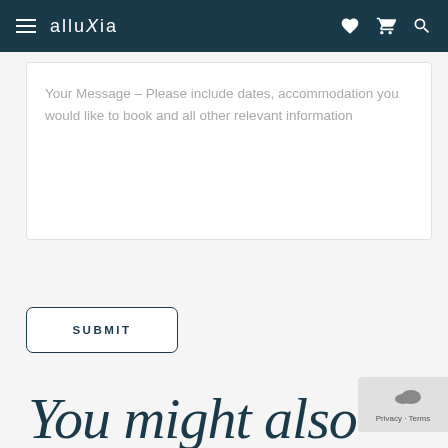alluXia — navigation bar with hamburger menu, heart, cart, and search icons
Your Message – Please include dates, accommodation you would like to book and all other relevant information
SUBMIT
You might also